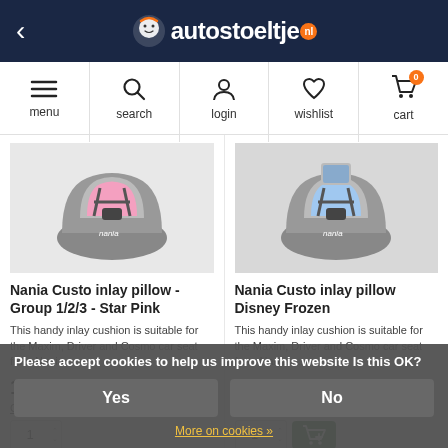autostoeltje.nl
[Figure (screenshot): Navigation bar with menu, search, login, wishlist, cart icons]
[Figure (photo): Nania Custo inlay pillow Star Pink car seat product image]
[Figure (photo): Nania Custo inlay pillow Disney Frozen car seat product image]
Nania Custo inlay pillow - Group 1/2/3 - Star Pink
Nania Custo inlay pillow Disney Frozen
This handy inlay cushion is suitable for the Maxim, Driver and Cosmo car seat from Nania. ...
This handy inlay cushion is suitable for the Maxim, Driver and Cosmo car seat from Nania. ...
19.99
19.99
Compare
Compare
Please accept cookies to help us improve this website Is this OK?
Yes
No
More on cookies »